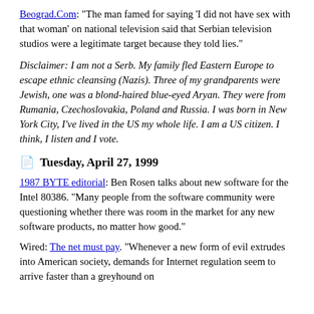Beograd.Com: "The man famed for saying 'I did not have sex with that woman' on national television said that Serbian television studios were a legitimate target because they told lies."
Disclaimer: I am not a Serb. My family fled Eastern Europe to escape ethnic cleansing (Nazis). Three of my grandparents were Jewish, one was a blond-haired blue-eyed Aryan. They were from Rumania, Czechoslovakia, Poland and Russia. I was born in New York City, I've lived in the US my whole life. I am a US citizen. I think, I listen and I vote.
Tuesday, April 27, 1999
1987 BYTE editorial: Ben Rosen talks about new software for the Intel 80386. "Many people from the software community were questioning whether there was room in the market for any new software products, no matter how good."
Wired: The net must pay. "Whenever a new form of evil extrudes into American society, demands for Internet regulation seem to arrive faster than a greyhound on